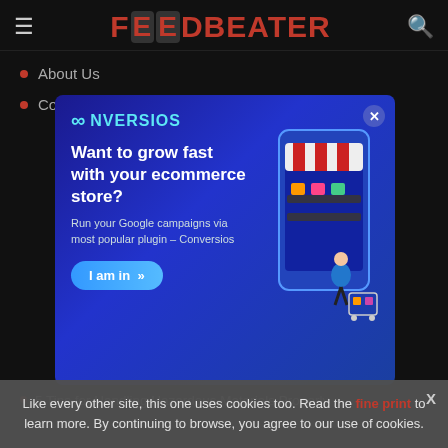FOODBEATER
About Us
Contact Us
[Figure (infographic): Conversios advertisement banner: 'Want to grow fast with your ecommerce store? Run your Google campaigns via most popular plugin – Conversios' with I am in button and illustration of a woman with shopping cart.]
5 Tips for Handling Hazardous Materials Properly
Like every other site, this one uses cookies too. Read the fine print to learn more. By continuing to browse, you agree to our use of cookies.
Recovery You Cannot Miss